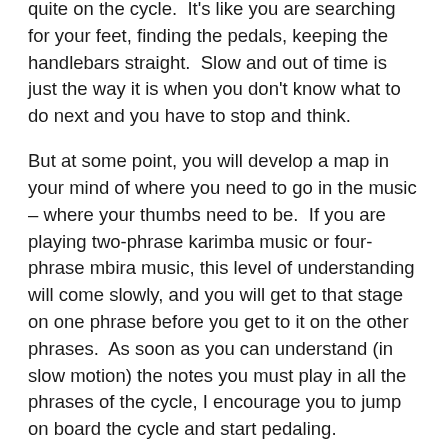quite on the cycle.  It's like you are searching for your feet, finding the pedals, keeping the handlebars straight.  Slow and out of time is just the way it is when you don't know what to do next and you have to stop and think.
But at some point, you will develop a map in your mind of where you need to go in the music – where your thumbs need to be.  If you are playing two-phrase karimba music or four-phrase mbira music, this level of understanding will come slowly, and you will get to that stage on one phrase before you get to it on the other phrases.  As soon as you can understand (in slow motion) the notes you must play in all the phrases of the cycle, I encourage you to jump on board the cycle and start pedaling.
Of course, it will be slow at first, and rather unsteady.  If you have to slow down to play the fourth phrase of the cycle, you might want to consider taking the whole thing at that slower pace to make it more